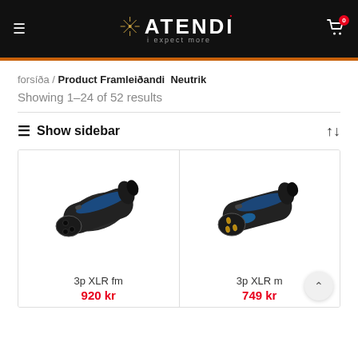ATENDI expect more — navigation header with hamburger menu and cart icon (0 items)
forsíða / Product Framleiðandi Neutrik
Showing 1–24 of 52 results
≡ Show sidebar
[Figure (photo): 3p XLR fm connector — dark metallic XLR female connector with blue accent ring]
3p XLR fm
920 kr
[Figure (photo): 3p XLR m connector — dark metallic XLR male connector with blue accent ring and gold pins]
3p XLR m
749 kr